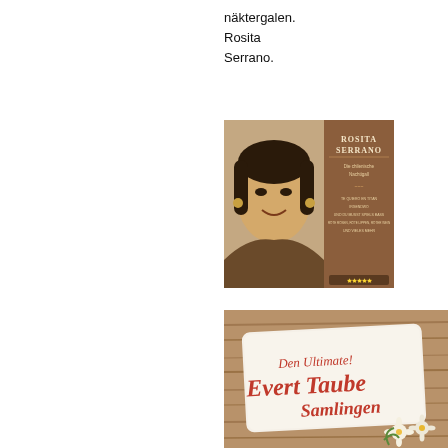näktergalen.
Rosita
Serrano.
[Figure (photo): Album cover for Rosita Serrano – Die chilenische Nachtigall, showing a black and white portrait photo of Rosita Serrano alongside the album title text in brown/tan tones.]
[Figure (photo): Album cover for Den Ultimete Evert Taube Samlingen, showing stylized retro script text on a wooden plank background with flowers.]